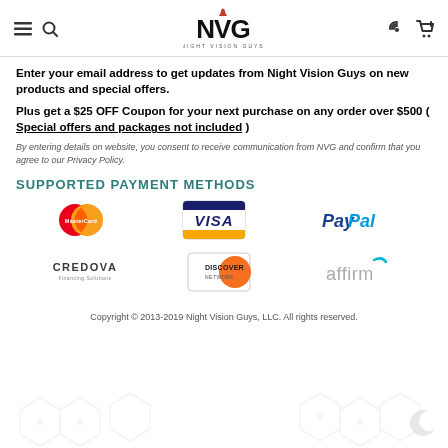NVG Night Vision Guys
Enter your email address to get updates from Night Vision Guys on new products and special offers.
Plus get a $25 OFF Coupon for your next purchase on any order over $500 ( Special offers and packages not included )
By entering details on website, you consent to receive communication from NVG and confirm that you agree to our Privacy Policy.
SUPPORTED PAYMENT METHODS
[Figure (logo): MasterCard logo - two overlapping circles red and orange]
[Figure (logo): Visa logo - white text on dark blue/navy background]
[Figure (logo): PayPal logo - blue italic bold text]
[Figure (logo): Credova Financing Solutions logo]
[Figure (logo): Discover card logo - white/orange]
[Figure (logo): Affirm logo - grey text with arc]
Copyright © 2013-2019 Night Vision Guys, LLC. All rights reserved.